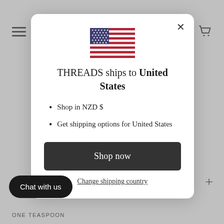[Figure (screenshot): Website modal dialog showing country shipping selector for THREADS store. Background shows grey website with hamburger menu, cart icon, plus icon, and ONE TEASPOON text. Modal contains US flag, shipping message, bullet points, Shop now button, and Change shipping country link. A Chat with us button appears bottom left.]
THREADS ships to United States
Shop in NZD $
Get shipping options for United States
Shop now
Change shipping country
Chat with us
ONE TEASPOON